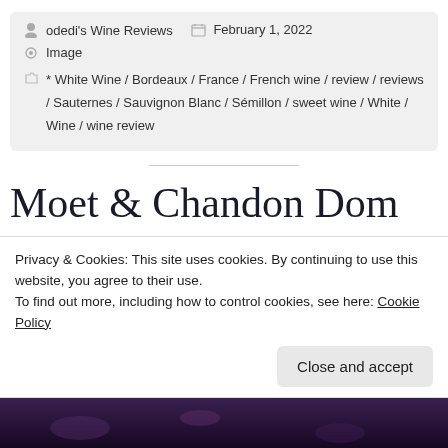odedi's Wine Reviews   February 1, 2022
Image
* White Wine / Bordeaux / France / French wine / review / reviews / Sauternes / Sauvignon Blanc / Sémillon / sweet wine / White / Wine / wine review
Moet & Chandon Dom
Privacy & Cookies: This site uses cookies. By continuing to use this website, you agree to their use.
To find out more, including how to control cookies, see here: Cookie Policy
Close and accept